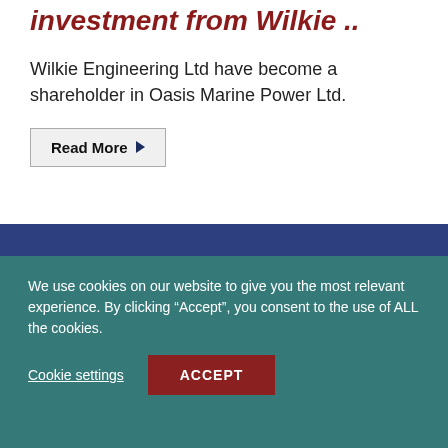investment from Wilkie ..
Wilkie Engineering Ltd have become a shareholder in Oasis Marine Power Ltd.
Read More ▶
Follow our progress
We use cookies on our website to give you the most relevant experience. By clicking “Accept”, you consent to the use of ALL the cookies.
Cookie settings  ACCEPT